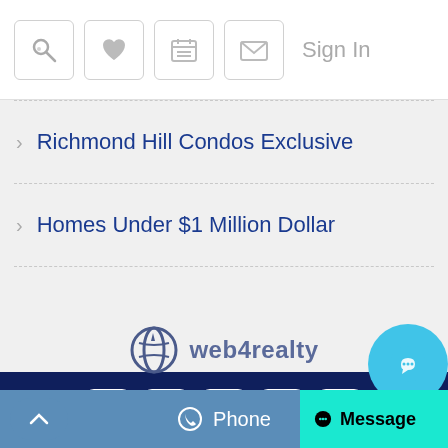Navigation bar with search, favorites, calendar, email icons and Sign In
Richmond Hill Condos Exclusive
Homes Under $1 Million Dollar
[Figure (logo): web4realty logo in dark navy footer]
[Figure (infographic): Social media icons: Facebook, Twitter, YouTube, LinkedIn, Instagram]
Phone | Message